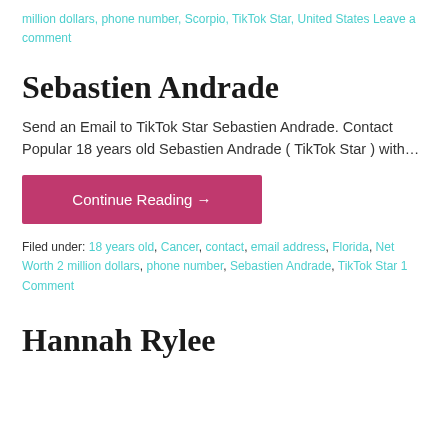million dollars, phone number, Scorpio, TikTok Star, United States Leave a comment
Sebastien Andrade
Send an Email to TikTok Star Sebastien Andrade. Contact Popular 18 years old Sebastien Andrade ( TikTok Star ) with…
Continue Reading →
Filed under: 18 years old, Cancer, contact, email address, Florida, Net Worth 2 million dollars, phone number, Sebastien Andrade, TikTok Star 1 Comment
Hannah Rylee